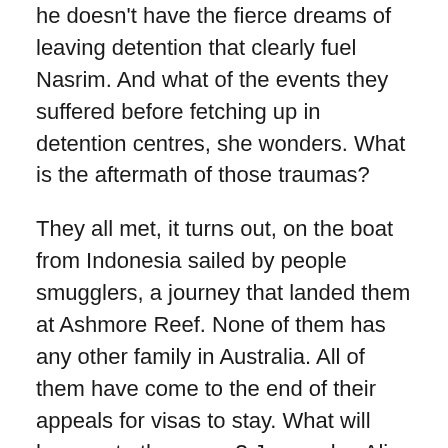he doesn't have the fierce dreams of leaving detention that clearly fuel Nasrim. And what of the events they suffered before fetching up in detention centres, she wonders. What is the aftermath of those traumas?
They all met, it turns out, on the boat from Indonesia sailed by people smugglers, a journey that landed them at Ashmore Reef. None of them has any other family in Australia. All of them have come to the end of their appeals for visas to stay. What will happen to them now? Jane asks. Ali shrugs and doesn't answer.
‘The Australian Government they give us money to go back to Afghanistan, everybody says so,’ Nasrim tells us. ‘I will go, I think.’
‘But what will happen to you? Will you be safe? Have you any family left there?’